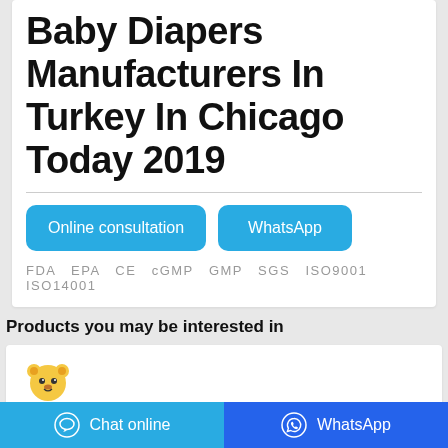Baby Diapers Manufacturers In Turkey In Chicago Today 2019
Online consultation   WhatsApp
FDA  EPA  CE  cGMP  GMP  SGS  ISO9001  ISO14001
Products you may be interested in
[Figure (logo): BuBu brand logo with cartoon bear character]
Chat online   WhatsApp